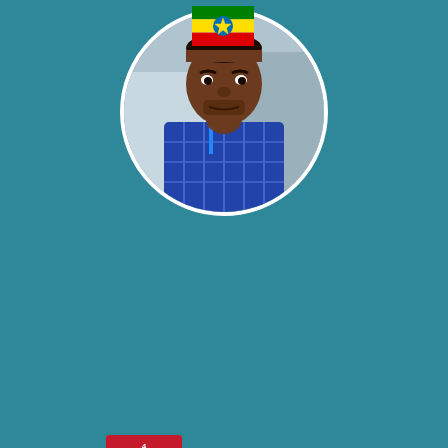[Figure (photo): Profile photo of a man in a circular crop with white border, Ethiopian flag above, SDG Goal 4 Quality Education badge below-left of the circle, on a teal background]
Cookies disclaimer
[Figure (other): Pink/magenta button with white bold text 'I AGREE']
Our site saves small pieces of text information (cookies) on your device in order to deliver better content and for statistical purposes. You can disable the usage of cookies by changing the settings of your browser. By browsing our website without changing the browser settings you grant us permission to store that information on your device.
Tajeb... ...alegn
RINICT Ethiop PLC
A d... ...in order to deliver better content rights
environments for students to actively
access and produce knowledge...